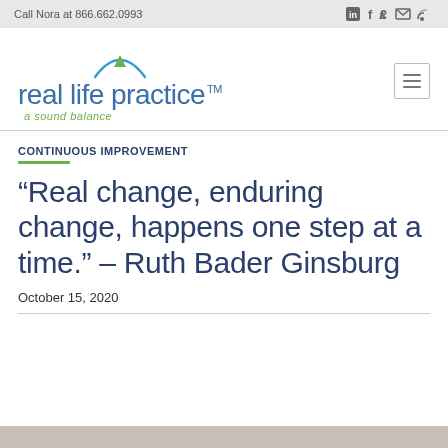Call Nora at 866.662.0993
[Figure (logo): Real life practice logo with arc/triangle icon and tagline 'a sound balance']
CONTINUOUS IMPROVEMENT
“Real change, enduring change, happens one step at a time.” – Ruth Bader Ginsburg
October 15, 2020